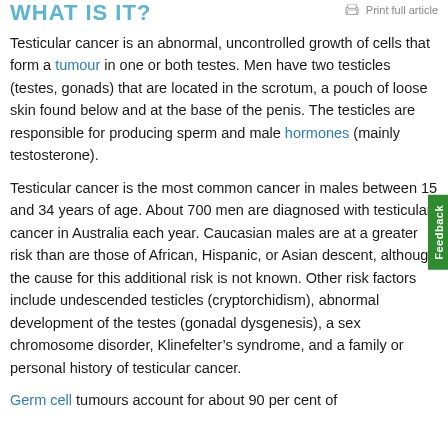WHAT IS IT?
Testicular cancer is an abnormal, uncontrolled growth of cells that form a tumour in one or both testes. Men have two testicles (testes, gonads) that are located in the scrotum, a pouch of loose skin found below and at the base of the penis. The testicles are responsible for producing sperm and male hormones (mainly testosterone).
Testicular cancer is the most common cancer in males between 15 and 34 years of age. About 700 men are diagnosed with testicular cancer in Australia each year. Caucasian males are at a greater risk than are those of African, Hispanic, or Asian descent, although the cause for this additional risk is not known. Other risk factors include undescended testicles (cryptorchidism), abnormal development of the testes (gonadal dysgenesis), a sex chromosome disorder, Klinefelter’s syndrome, and a family or personal history of testicular cancer.
Germ cell tumours account for about 90 per cent of